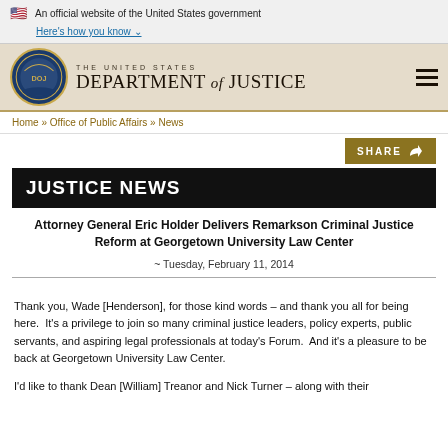An official website of the United States government
Here's how you know
[Figure (logo): United States Department of Justice seal and wordmark with hamburger menu icon]
Home » Office of Public Affairs » News
SHARE
JUSTICE NEWS
Attorney General Eric Holder Delivers Remarkson Criminal Justice Reform at Georgetown University Law Center
~ Tuesday, February 11, 2014
Thank you, Wade [Henderson], for those kind words – and thank you all for being here.  It's a privilege to join so many criminal justice leaders, policy experts, public servants, and aspiring legal professionals at today's Forum.  And it's a pleasure to be back at Georgetown University Law Center.
I'd like to thank Dean [William] Treanor and Nick Turner – along with their